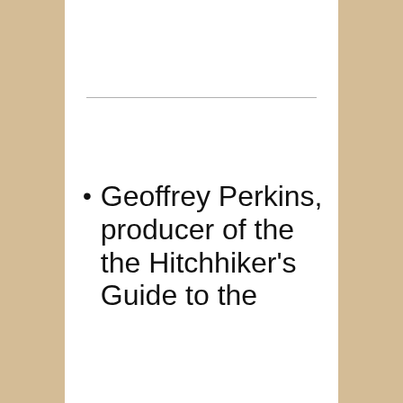Geoffrey Perkins, producer of the the Hitchhiker's Guide to the